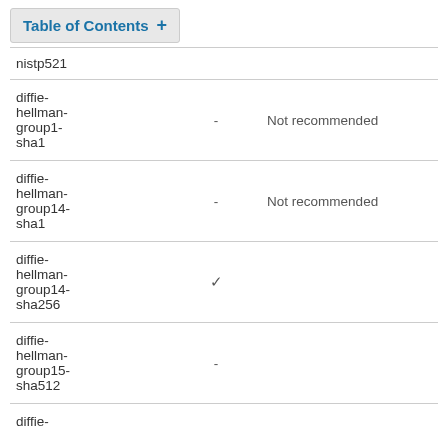Table of Contents +
| Algorithm |  |  |
| --- | --- | --- |
| nistp521 |  |  |
| diffie-hellman-group1-sha1 | - | Not recommended |
| diffie-hellman-group14-sha1 | - | Not recommended |
| diffie-hellman-group14-sha256 | ✓ |  |
| diffie-hellman-group15-sha512 | - |  |
| diffie- |  |  |